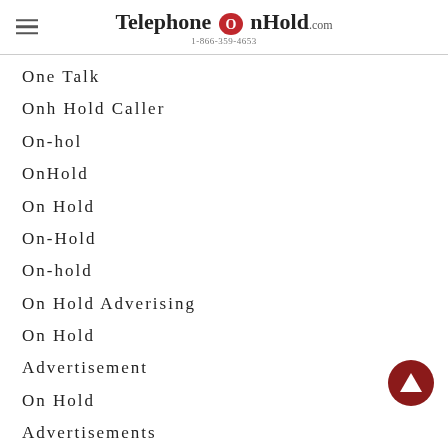TelephoneOnHold.com 1-866-359-4653
One Talk
Onh Hold Caller
On-hol
OnHold
On Hold
On-Hold
On-hold
On Hold Adverising
On Hold
Advertisement
On Hold
Advertisements